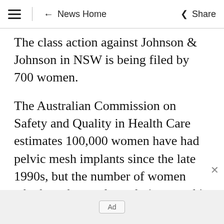≡  ← News Home  Share
The class action against Johnson & Johnson in NSW is being filed by 700 women.
The Australian Commission on Safety and Quality in Health Care estimates 100,000 women have had pelvic mesh implants since the late 1990s, but the number of women who have been adversely impacted is unknown.
The HIC's survey and study is ongoing and can
Ad